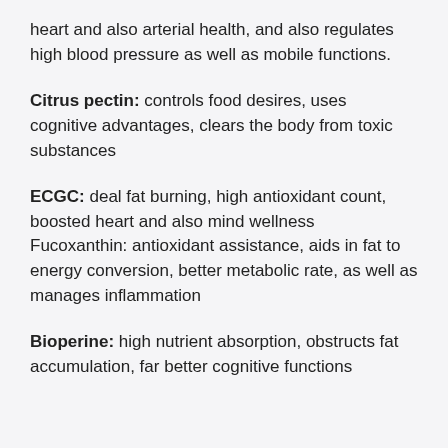heart and also arterial health, and also regulates high blood pressure as well as mobile functions.
Citrus pectin: controls food desires, uses cognitive advantages, clears the body from toxic substances
ECGC: deal fat burning, high antioxidant count, boosted heart and also mind wellness Fucoxanthin: antioxidant assistance, aids in fat to energy conversion, better metabolic rate, as well as manages inflammation
Bioperine: high nutrient absorption, obstructs fat accumulation, far better cognitive functions